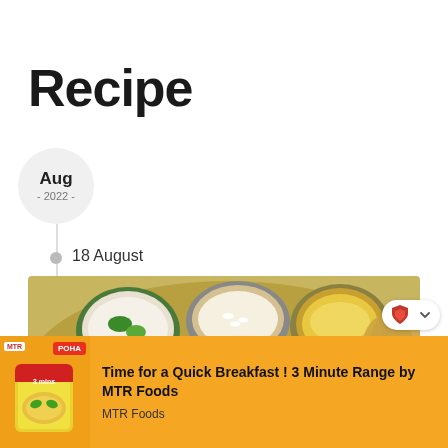Recipe
Aug
- 2022 -
18 August
[Figure (photo): Overhead view of an Indian thali with multiple bowls containing various dishes including raita, rice, dal, vegetable curries, and papad arranged on a brass plate]
[Figure (infographic): Advertisement banner: Time for a Quick Breakfast ! 3 Minute Range by MTR Foods — MTR Foods POHA product image on orange background]